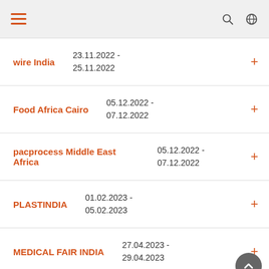Navigation header with hamburger menu, search and globe icons
wire India | 23.11.2022 - 25.11.2022
Food Africa Cairo | 05.12.2022 - 07.12.2022
pacprocess Middle East Africa | 05.12.2022 - 07.12.2022
PLASTINDIA | 01.02.2023 - 05.02.2023
MEDICAL FAIR INDIA | 27.04.2023 - 29.04.2023
ProWine Hongkong | 10.05.2023 - 12.05.2023
in - store asia | 11.05.2023 -